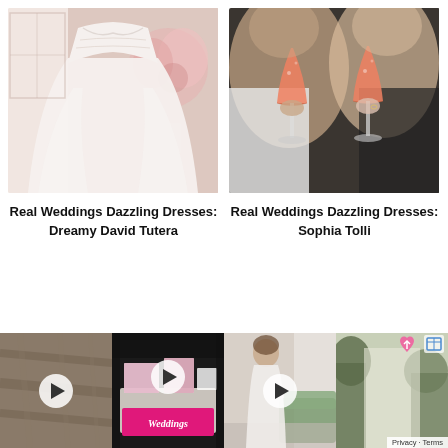[Figure (photo): Wedding dress photo - white ballgown with sweetheart neckline in a decorated room]
[Figure (photo): Two women toasting with pink/orange cocktail coupes]
Real Weddings Dazzling Dresses: Dreamy David Tutera
Real Weddings Dazzling Dresses: Sophia Tolli
[Figure (photo): Video thumbnail - close-up fabric detail with play button]
[Figure (photo): Video thumbnail - Weddings magazine booth with pink banner, play button overlay]
[Figure (photo): Video thumbnail - woman in white dress in a room with green sofa, play button overlay]
[Figure (photo): Photo - outdoor scene with trees and heart icon overlay, Privacy Terms label]